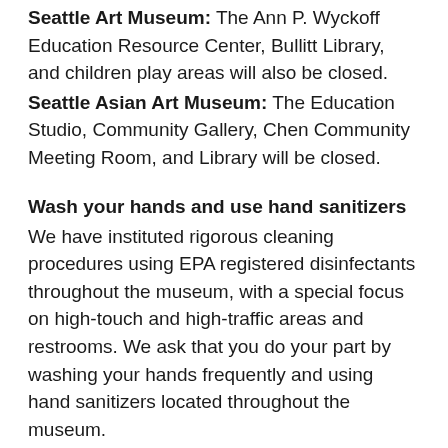Seattle Art Museum: The Ann P. Wyckoff Education Resource Center, Bullitt Library, and children play areas will also be closed.
Seattle Asian Art Museum: The Education Studio, Community Gallery, Chen Community Meeting Room, and Library will be closed.
Wash your hands and use hand sanitizers
We have instituted rigorous cleaning procedures using EPA registered disinfectants throughout the museum, with a special focus on high-touch and high-traffic areas and restrooms. We ask that you do your part by washing your hands frequently and using hand sanitizers located throughout the museum.
Visit SAM Shop!
The Seattle Art Museum Shop and Gallery and